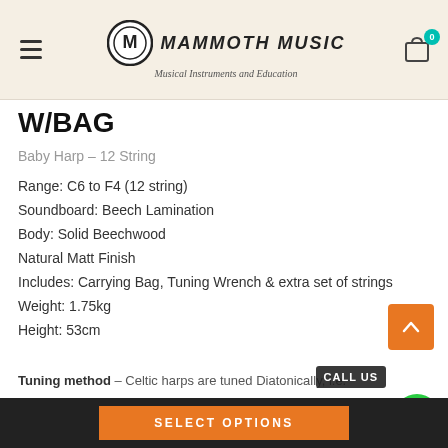Mammoth Music — Musical Instruments and Education
W/BAG
Baby Harp – 12 String
Range: C6 to F4 (12 string)
Soundboard: Beech Lamination
Body: Solid Beechwood
Natural Matt Finish
Includes: Carrying Bag, Tuning Wrench & extra set of strings
Weight: 1.75kg
Height: 53cm
Tuning method – Celtic harps are tuned Diatonically, i.e.
SELECT OPTIONS | CALL US